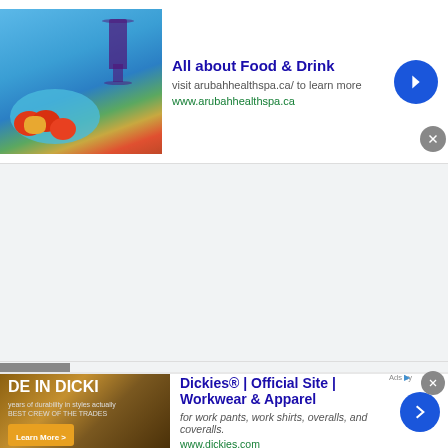[Figure (screenshot): Advertisement banner for 'All about Food & Drink' showing a food and wine image on the left, bold blue title, subtitle text 'visit arubahhealthspa.ca/ to learn more', green URL 'www.arubahhealthspa.ca', blue circular arrow button on right, and grey X close button]
[Figure (screenshot): Large grey placeholder/ad area in the middle of the page, empty grey rectangle]
[Figure (logo): Top Restaurant Prices logo with orange stars, the word TOP on left, orange stars in middle, PRICES in grey letters, and Restaurant in large teal/green serif font below]
[Figure (screenshot): Scroll-up button (grey arrow pointing up) on lower left, partial navigation bar showing TOP RESTAURANT PRICES and PRIVACY POLICY links]
[Figure (screenshot): Advertisement banner overlay for 'Dickies® | Official Site | Workwear & Apparel' showing a Dickies-style image on left, bold blue title, subtitle 'for work pants, work shirts, overalls, and coveralls.', green URL 'www.dickies.com', blue circular arrow button, grey X close button, and Ads by label]